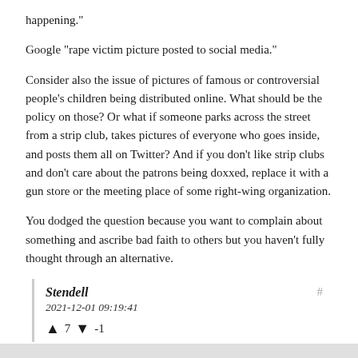happening."
Google "rape victim picture posted to social media."
Consider also the issue of pictures of famous or controversial people's children being distributed online. What should be the policy on those? Or what if someone parks across the street from a strip club, takes pictures of everyone who goes inside, and posts them all on Twitter? And if you don't like strip clubs and don't care about the patrons being doxxed, replace it with a gun store or the meeting place of some right-wing organization.
You dodged the question because you want to complain about something and ascribe bad faith to others but you haven't fully thought through an alternative.
Stendell
2021-12-01 09:19:41
↑ 7 ↓ -1